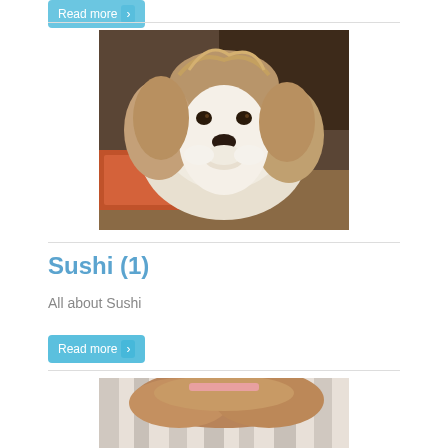[Figure (photo): Photo of a Shih Tzu dog with brown and white fur, looking at the camera, sitting indoors]
Sushi (1)
All about Sushi
Read more
[Figure (photo): Partial photo of a dog with reddish-brown fur on a zebra-patterned surface]